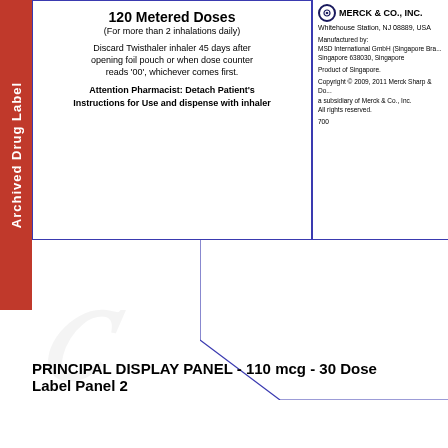Archived Drug Label
120 Metered Doses
(For more than 2 inhalations daily)

Discard Twisthaler inhaler 45 days after opening foil pouch or when dose counter reads '00', whichever comes first.

Attention Pharmacist: Detach Patient's Instructions for Use and dispense with inhaler
MERCK & CO., INC.
Whitehouse Station, NJ 08889, USA

Manufactured by:
MSD International GmbH (Singapore Branch)
Singapore 638030, Singapore

Product of Singapore.

Copyright © 2009, 2011 Merck Sharp & Dohme Corp., a subsidiary of Merck & Co., Inc.
All rights reserved.
700
PRINCIPAL DISPLAY PANEL - 110 mcg - 30 Dose Label Panel 2